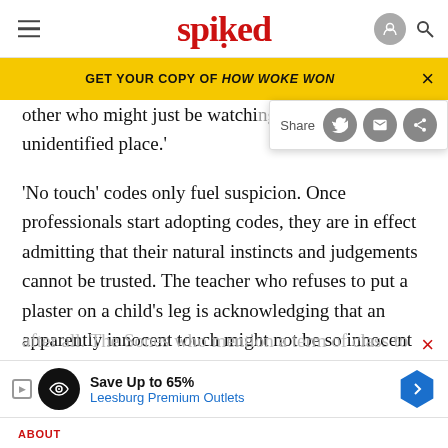spiked
GET YOUR COPY OF HOW WOKE WON
other who might just be watching from an unidentified place.'
'No touch' codes only fuel suspicion. Once professionals start adopting codes, they are in effect admitting that their natural instincts and judgements cannot be trusted. The teacher who refuses to put a plaster on a child's leg is acknowledging that an apparently innocent touch might not be so innocent after all. The Sones who mention a term of class to
Save Up to 65% Leesburg Premium Outlets
ABOUT